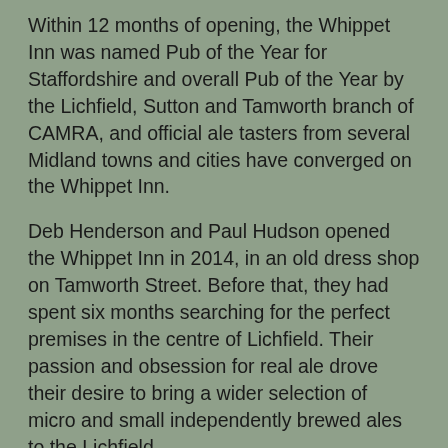Within 12 months of opening, the Whippet Inn was named Pub of the Year for Staffordshire and overall Pub of the Year by the Lichfield, Sutton and Tamworth branch of CAMRA, and official ale tasters from several Midland towns and cities have converged on the Whippet Inn.
Deb Henderson and Paul Hudson opened the Whippet Inn in 2014, in an old dress shop on Tamworth Street. Before that, they had spent six months searching for the perfect premises in the centre of Lichfield. Their passion and obsession for real ale drove their desire to bring a wider selection of micro and small independently brewed ales to the Lichfield.
A micropub is usually a single room, former shop premises, as is the case with the Whippet Inn, with a focus on real ale, real cider and wine. They do not sell lager, keg beer or spirits. True micropubs hark back to the days of the ale house when conversation was king with no influence from gaming machines, TVs nor music.
Until these recent closures, the Whippet Inn had its own restricted opening hours, with seating for about 25 people.